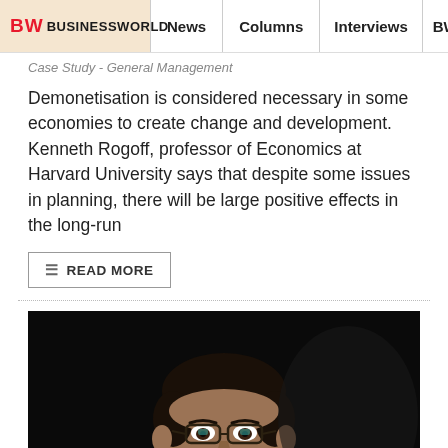BW BUSINESSWORLD | News | Columns | Interviews | BW
Case Study - General Management
Demonetisation is considered necessary in some economies to create change and development. Kenneth Rogoff, professor of Economics at Harvard University says that despite some issues in planning, there will be large positive effects in the long-run
READ MORE
[Figure (photo): Portrait photo of a man wearing glasses and a suit with a striped tie/scarf, smiling, against a dark background]